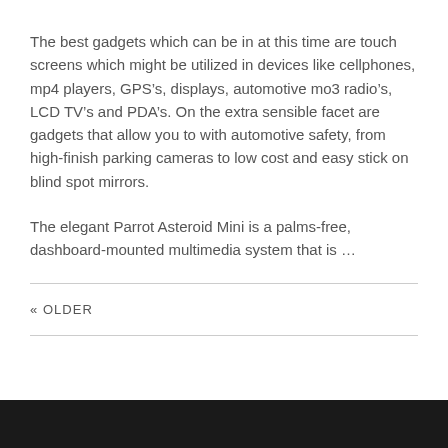The best gadgets which can be in at this time are touch screens which might be utilized in devices like cellphones, mp4 players, GPS’s, displays, automotive mo3 radio’s, LCD TV’s and PDA’s. On the extra sensible facet are gadgets that allow you to with automotive safety, from high-finish parking cameras to low cost and easy stick on blind spot mirrors.
The elegant Parrot Asteroid Mini is a palms-free, dashboard-mounted multimedia system that is …
« OLDER